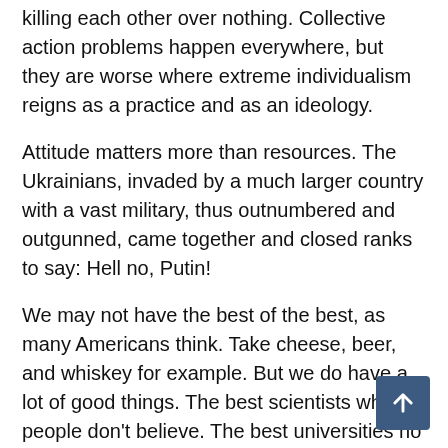killing each other over nothing. Collective action problems happen everywhere, but they are worse where extreme individualism reigns as a practice and as an ideology.
Attitude matters more than resources. The Ukrainians, invaded by a much larger country with a vast military, thus outnumbered and outgunned, came together and closed ranks to say: Hell no, Putin!
We may not have the best of the best, as many Americans think. Take cheese, beer, and whiskey for example. But we do have a lot of good things. The best scientists who people don't believe. The best universities no one can afford. The best medicine and the worst medical system.
Biden, a president I like and admire, a pesar de los